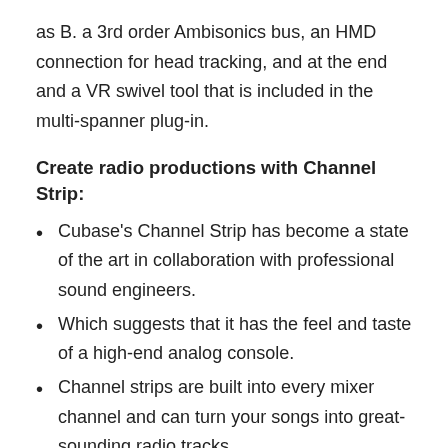as B. a 3rd order Ambisonics bus, an HMD connection for head tracking, and at the end and a VR swivel tool that is included in the multi-spanner plug-in.
Create radio productions with Channel Strip:
Cubase's Channel Strip has become a state of the art in collaboration with professional sound engineers.
Which suggests that it has the feel and taste of a high-end analog console.
Channel strips are built into every mixer channel and can turn your songs into great-sounding radio tracks.